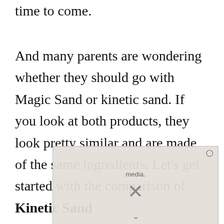time to come.
And many parents are wondering whether they should go with Magic Sand or kinetic sand. If you look at both products, they look pretty similar and are made of the same ingredients. Let’s get started with the comparison of Kinetic Sand
[Figure (other): An advertisement overlay showing a video player with an X close button and media text, partially obscuring the article text.]